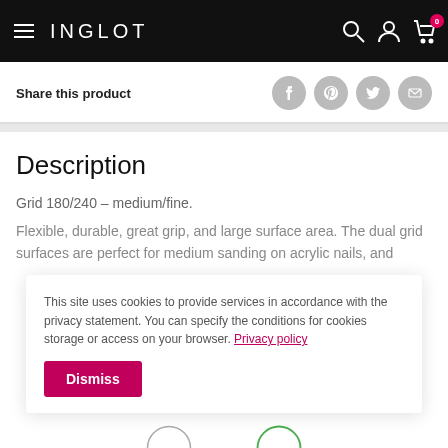INGLOT
Share this product
Description
Grid 180/240 – medium/fine.
Flexible, durable, great grip, and large surface area. The dual grid surfaces are perfect for medium sanding on acrylic nails, and
This site uses cookies to provide services in accordance with the privacy statement. You can specify the conditions for cookies storage or access on your browser. Privacy policy
Dismiss